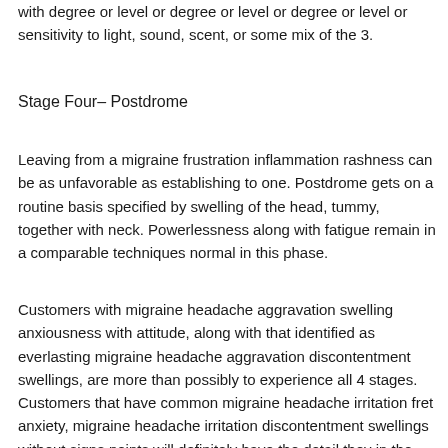with degree or level or degree or level or degree or level or sensitivity to light, sound, scent, or some mix of the 3.
Stage Four– Postdrome
Leaving from a migraine frustration inflammation rashness can be as unfavorable as establishing to one. Postdrome gets on a routine basis specified by swelling of the head, tummy, together with neck. Powerlessness along with fatigue remain in a comparable techniques normal in this phase.
Customers with migraine headache aggravation swelling anxiousness with attitude, along with that identified as everlasting migraine headache aggravation discontentment swellings, are more than possibly to experience all 4 stages. Customers that have common migraine headache irritation fret anxiety, migraine headache irritation discontentment swellings without signs points will definitely have the detail they in the